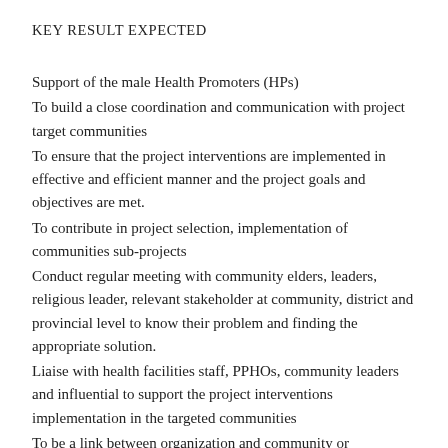KEY RESULT EXPECTED
Support of the male Health Promoters (HPs)
To build a close coordination and communication with project target communities
To ensure that the project interventions are implemented in effective and efficient manner and the project goals and objectives are met.
To contribute in project selection, implementation of communities sub-projects
Conduct regular meeting with community elders, leaders, religious leader, relevant stakeholder at community, district and provincial level to know their problem and finding the appropriate solution.
Liaise with health facilities staff, PPHOs, community leaders and influential to support the project interventions implementation in the targeted communities
To be a link between organization and community or